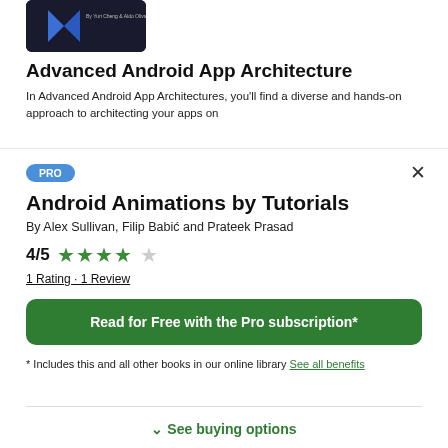[Figure (screenshot): Book cover thumbnail for Advanced Android App Architecture, dark background with raywenderlich logo]
Advanced Android App Architecture
In Advanced Android App Architectures, you'll find a diverse and hands-on approach to architecting your apps on
PRO
Android Animations by Tutorials
By Alex Sullivan, Filip Babić and Prateek Prasad
4/5  ★★★★☆
1 Rating · 1 Review
Read for Free with the Pro subscription*
* Includes this and all other books in our online library See all benefits
See buying options